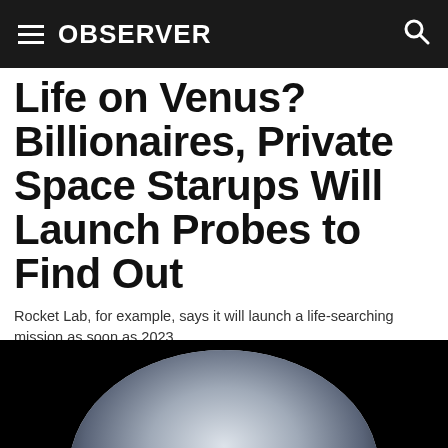OBSERVER
Life on Venus? Billionaires, Private Space Starups Will Launch Probes to Find Out
Rocket Lab, for example, says it will launch a life-searching mission as soon as 2023.
By Sissi Cao · 09/18/20 8:00am
[Figure (other): Social media share buttons: Facebook, Twitter, LinkedIn, Email]
[Figure (photo): Partial image of Venus or a planet against a black background, showing a curved illuminated surface]